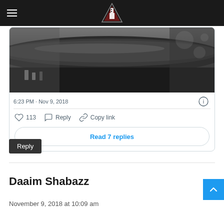Navigation bar with hamburger menu and site logo
[Figure (photo): Black and white photo of a leather chair/sofa arm with blurred chess pieces in the background]
6:23 PM · Nov 9, 2018
♡ 113   Reply   Copy link
Read 7 replies
Reply
Daaim Shabazz
November 9, 2018 at 10:09 am